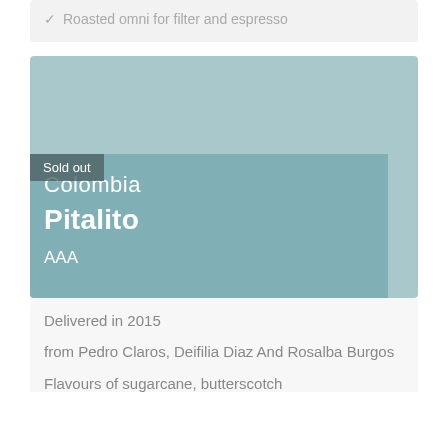Roasted omni for filter and espresso
[Figure (illustration): Light blue/teal colored product card showing Colombia Pitalito AAA coffee with a 'Sold out' badge overlay on a muted teal background]
Delivered in 2015
from Pedro Claros, Deifilia Diaz And Rosalba Burgos
Flavours of sugarcane, butterscotch